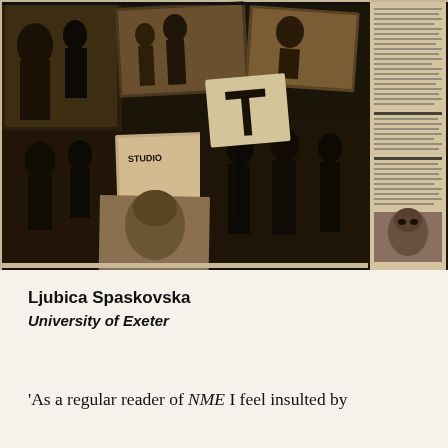[Figure (photo): A collage of black-and-white newspaper/magazine images showing various musicians and scenes, appearing to be from NME (New Musical Express) or similar music press publication. Multiple overlapping photographs of bands performing, album covers, and editorial imagery arranged in a montage style. Text columns visible on right side margin.]
Ljubica Spaskovska
University of Exeter
'As a regular reader of NME I feel insulted by